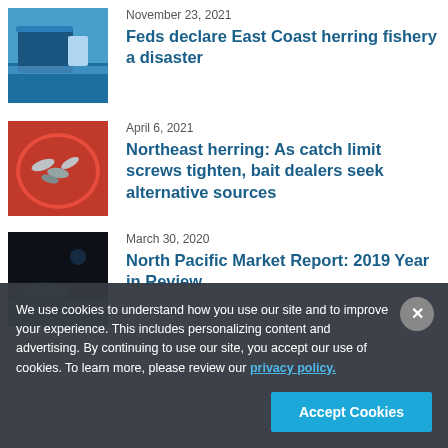November 23, 2021
Feds declare East Coast herring fishery a disaster
[Figure (photo): Fishing boat at dock with blue sky]
April 6, 2021
Northeast herring: As catch limit screws tighten, bait dealers seek alternative sources
[Figure (photo): Bucket of herring fish with red/orange container]
March 30, 2020
North Pacific Market Report: 2019 Year in Review
[Figure (photo): Dark underwater scene with fish on seafloor]
We use cookies to understand how you use our site and to improve your experience. This includes personalizing content and advertising. By continuing to use our site, you accept our use of cookies. To learn more, please review our privacy policy.